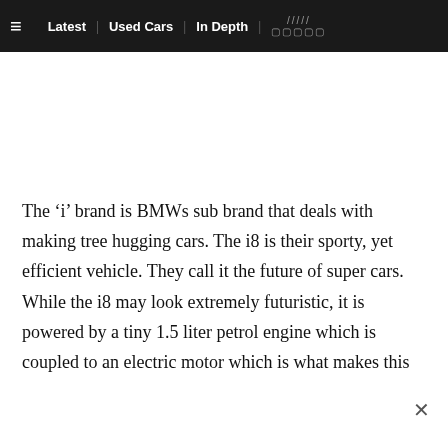≡  Latest | Used Cars | In Depth | ///// □□□□□
The 'i' brand is BMWs sub brand that deals with making tree hugging cars. The i8 is their sporty, yet efficient vehicle. They call it the future of super cars. While the i8 may look extremely futuristic, it is powered by a tiny 1.5 liter petrol engine which is coupled to an electric motor which is what makes this